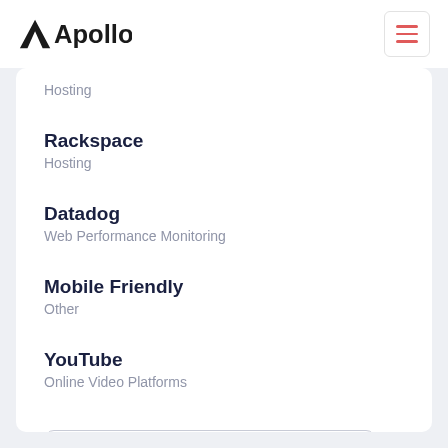Apollo
Hosting
Rackspace
Hosting
Datadog
Web Performance Monitoring
Mobile Friendly
Other
YouTube
Online Video Platforms
View All Technologies